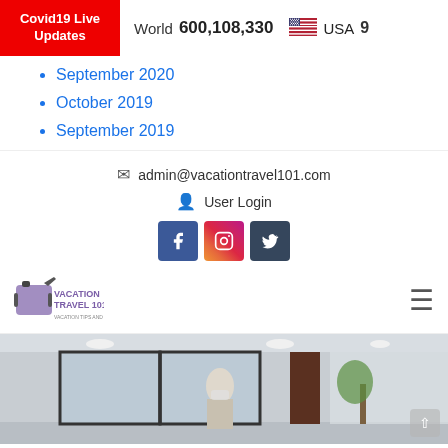Covid19 Live Updates | World 600,108,330 | USA 9...
September 2020
October 2019
September 2019
admin@vacationtravel101.com
User Login
[Figure (logo): Vacation Travel 101 logo with luggage icons and tagline 'Vacation Tips and Advice']
[Figure (photo): Woman wearing a face mask standing in a hotel or airport lobby interior]